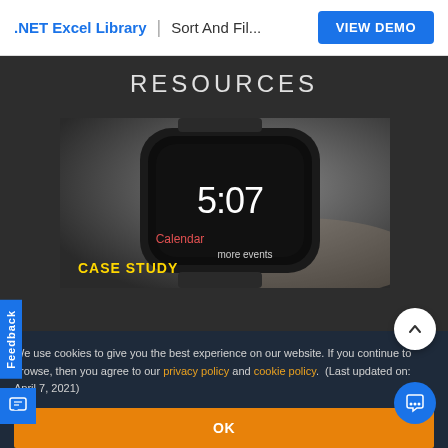.NET Excel Library | Sort And Fil... VIEW DEMO
RESOURCES
[Figure (photo): Close-up photo of an Apple Watch showing 5:07 time and Calendar app with 'more events' text. The image is overlaid with 'CASE STUDY' text in yellow.]
We use cookies to give you the best experience on our website. If you continue to browse, then you agree to our privacy policy and cookie policy. (Last updated on: April 7, 2021)
OK